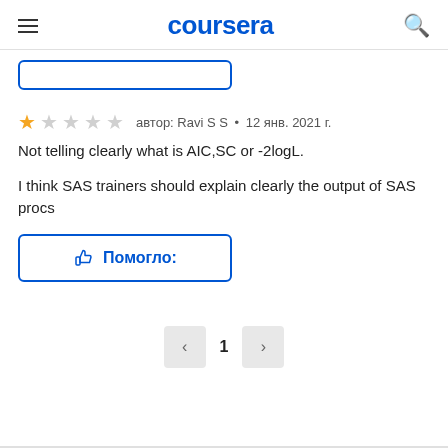coursera
[Figure (other): Truncated button at top of content area]
автор: Ravi S S • 12 янв. 2021 г.
Not telling clearly what is AIC,SC or -2logL.

I think SAS trainers should explain clearly the output of SAS procs
👍 Помогло:
< 1 >